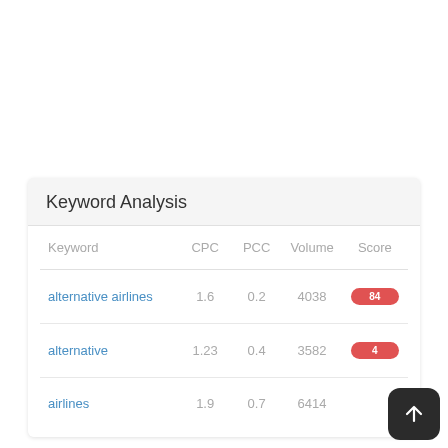Keyword Analysis
| Keyword | CPC | PCC | Volume | Score |
| --- | --- | --- | --- | --- |
| alternative airlines | 1.6 | 0.2 | 4038 | 84 |
| alternative | 1.23 | 0.4 | 3582 | 4 |
| airlines | 1.9 | 0.7 | 6414 |  |